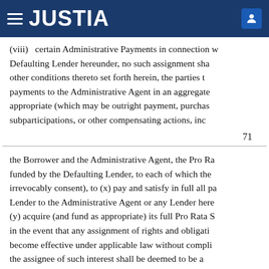JUSTIA
(viii) certain Administrative Payments in connection with a Defaulting Lender hereunder, no such assignment shall other conditions thereto set forth herein, the parties t payments to the Administrative Agent in an aggregate appropriate (which may be outright payment, purchas subparticipations, or other compensating actions, inc
71
the Borrower and the Administrative Agent, the Pro Ra funded by the Defaulting Lender, to each of which the irrevocably consent), to (x) pay and satisfy in full all pa Lender to the Administrative Agent or any Lender here (y) acquire (and fund as appropriate) its full Pro Rata S in the event that any assignment of rights and obligati become effective under applicable law without compli the assignee of such interest shall be deemed to be a